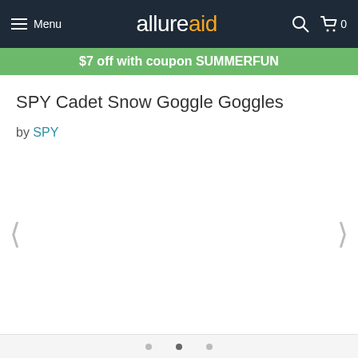Menu | allureaid | 0
$7 off with coupon SUMMERFUN
SPY Cadet Snow Goggle Goggles
by SPY
[Figure (other): Product image carousel area with left and right navigation arrows (‹ and ›) and empty white space where product images would appear]